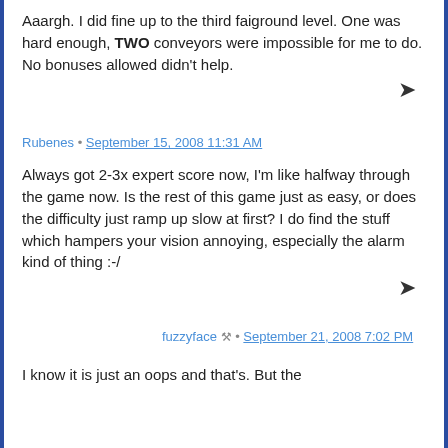Aaargh. I did fine up to the third fairground level. One was hard enough, TWO conveyors were impossible for me to do. No bonuses allowed didn't help.
Rubenes • September 15, 2008 11:31 AM
Always got 2-3x expert score now, I'm like halfway through the game now. Is the rest of this game just as easy, or does the difficulty just ramp up slow at first? I do find the stuff which hampers your vision annoying, especially the alarm kind of thing :-/
fuzzyface 🔧 • September 21, 2008 7:02 PM
I know it is just an oops and that's. But the